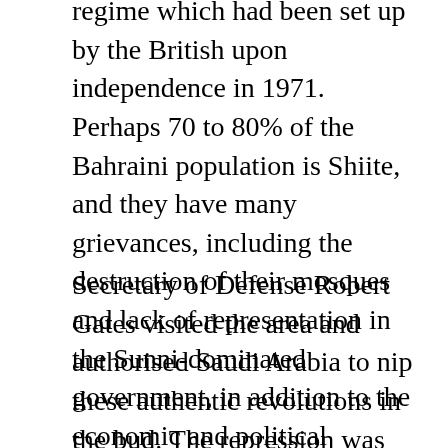regime which had been set up by the British upon independence in 1971. Perhaps 70 to 80% of the Bahraini population is Shiite, and they have many grievances, including the destruction of their mosques and lack of representation in the Sunni-dominated government, in addition to the economic and political grievances shared with ordinary Sunnis, who also joined the protests.
Secretary of Defense Robert Gates visited the area and authorised Saudi Arabia to nip these authentic revolutions in the bud. The repression was directed by Prince Nayef. He belonged to the Sudairi clan, as did Prince Bandar, although Nayef was his elder, and Bandar was only the son of a slave. The sharing of roles between the two men was clear – the uncle would maintain order by repressing popular movements, while the nephew would destabilise States by organising terrorism. They only needed to know which states were to receive which treatment [5].
Seldom had the hypocrisy and contradictions of